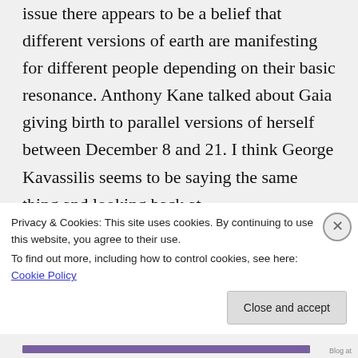issue there appears to be a belief that different versions of earth are manifesting for different people depending on their basic resonance. Anthony Kane talked about Gaia giving birth to parallel versions of herself between December 8 and 21. I think George Kavassilis seems to be saying the same thing and looking back at
Privacy & Cookies: This site uses cookies. By continuing to use this website, you agree to their use.
To find out more, including how to control cookies, see here: Cookie Policy
Close and accept